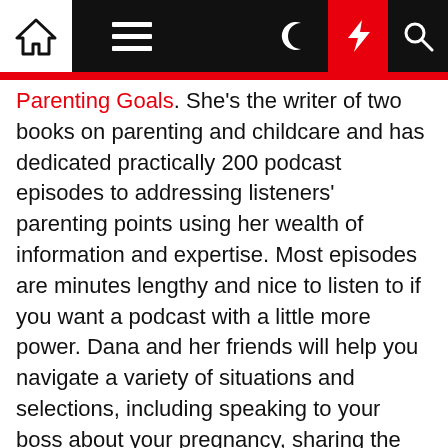Navigation bar with home, menu, moon, bolt, and search icons
Parenting Goals. She's the writer of two books on parenting and childcare and has dedicated practically 200 podcast episodes to addressing listeners' parenting points using her wealth of information and expertise. Most episodes are minutes lengthy and nice to listen to if you want a podcast with a little more power. Dana and her friends will help you navigate a variety of situations and selections, including speaking to your boss about your pregnancy, sharing the information with family members, planning a gender reveal celebration , and deciding where you'll have your baby.
Your youngster might be the preferred, the neatest within the faculty, or a star athlete but that does not imply that he will grow as a lot as be happier, get in